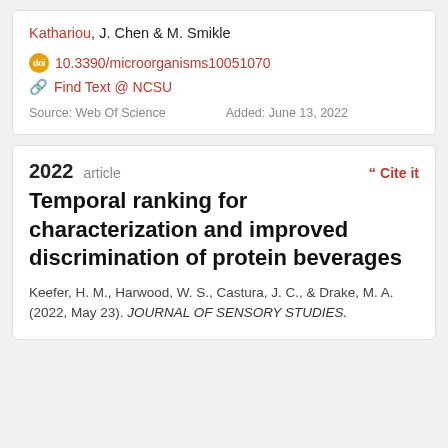Kathariou, J. Chen & M. Smikle
10.3390/microorganisms10051070
Find Text @ NCSU
Source: Web Of Science    Added: June 13, 2022
2022 article
Temporal ranking for characterization and improved discrimination of protein beverages
Keefer, H. M., Harwood, W. S., Castura, J. C., & Drake, M. A. (2022, May 23). JOURNAL OF SENSORY STUDIES.